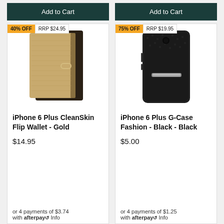Add to Cart
Add to Cart
[Figure (photo): Gold iPhone 6 Plus CleanSkin Flip Wallet case, open book-style design with tan/gold leather exterior, with 40% OFF badge and RRP $24.95]
[Figure (photo): Black iPhone 6 Plus G-Case Fashion case, hard back cover with silver kickstand, with 75% OFF badge and RRP $19.95]
iPhone 6 Plus CleanSkin Flip Wallet - Gold
iPhone 6 Plus G-Case Fashion - Black - Black
$14.95
$5.00
or 4 payments of $3.74 with afterpay Info
or 4 payments of $1.25 with afterpay Info